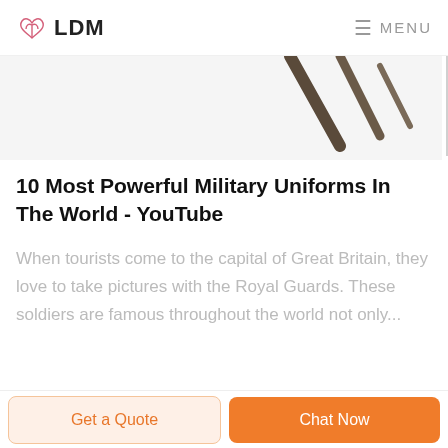LDM  MENU
[Figure (photo): Partial image showing angled dark lines/shapes against a light background, cropped at top of content area]
10 Most Powerful Military Uniforms In The World - YouTube
When tourists come to the capital of Great Britain, they love to take pictures with the Royal Guards. These soldiers are famous throughout the world not only...